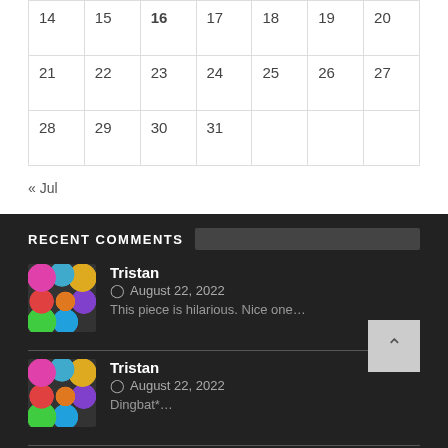| 14 | 15 | 16 | 17 | 18 | 19 | 20 |
| 21 | 22 | 23 | 24 | 25 | 26 | 27 |
| 28 | 29 | 30 | 31 |  |  |  |
« Jul
RECENT COMMENTS
Tristan
August 22, 2022
This piece is hilarious. Nice one…
Tristan
August 22, 2022
Dingbat*…